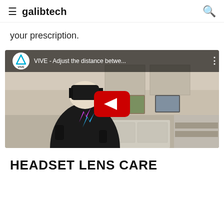galibtech
your prescription.
[Figure (screenshot): YouTube video thumbnail showing a person wearing an HTC Vive VR headset holding controllers in an office setting, with the video title 'VIVE - Adjust the distance betwe...' displayed in the overlay bar.]
HEADSET LENS CARE